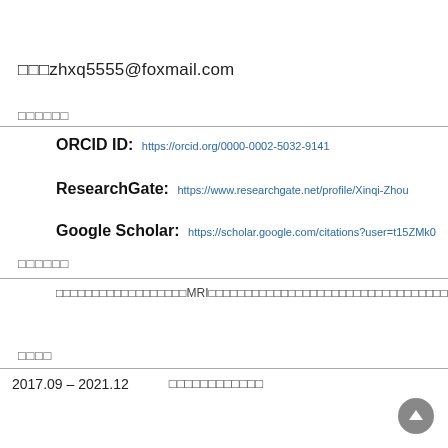□□□zhxq5555@foxmail.com
□□□□□□
ORCID ID: https://orcid.org/0000-0002-5032-9141
ResearchGate: https://www.researchgate.net/profile/Xinqi-Zhou
Google Scholar: https://scholar.google.com/citations?user=t15ZMk0
□□□□□□
□□□□□□□□□□□□□□□□□□MRI□□□□□□□□□□□□□□□□□□□□□□□□□□□□□□□□□□
□□□□
2017.09 – 2021.12    □□□□□□□□□□□□